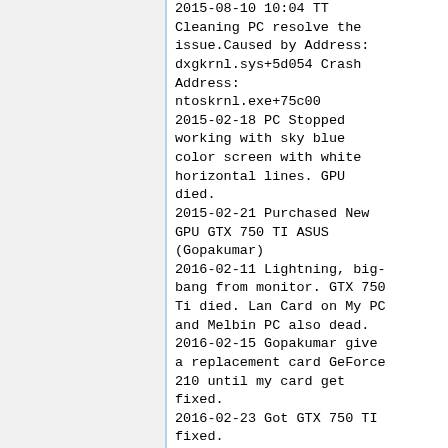2015-08-10 10:04 TT Cleaning PC resolve the issue.Caused by Address: dxgkrnl.sys+5d054 Crash Address: ntoskrnl.exe+75c00 2015-02-18 PC Stopped working with sky blue color screen with white horizontal lines. GPU died. 2015-02-21 Purchased New GPU GTX 750 TI ASUS (Gopakumar) 2016-02-11 Lightning, big-bang from monitor. GTX 750 Ti died. Lan Card on My PC and Melbin PC also dead. 2016-02-15 Gopakumar give a replacement card GeForce 210 until my card get fixed. 2016-02-23 Got GTX 750 TI fixed. 2017-10-10 CoolerMaster ...